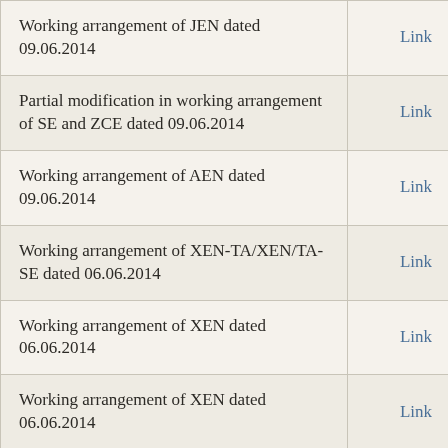| Description | Link |
| --- | --- |
| Working arrangement of JEN dated 09.06.2014 | Link |
| Partial modification in working arrangement of SE and ZCE dated 09.06.2014 | Link |
| Working arrangement of AEN dated 09.06.2014 | Link |
| Working arrangement of XEN-TA/XEN/TA-SE dated 06.06.2014 | Link |
| Working arrangement of XEN dated 06.06.2014 | Link |
| Working arrangement of XEN dated 06.06.2014 | Link |
| Working arrangement of AEN dated 06.06.2014 | Link |
| Working arrangement of AEN dated | Link |